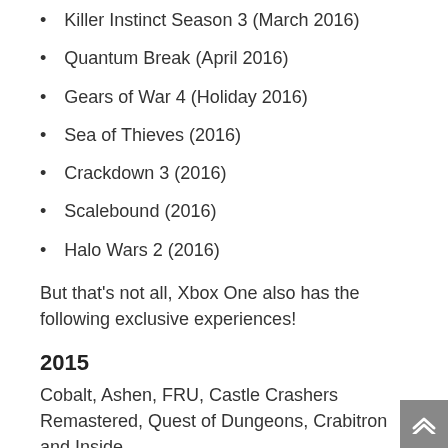Killer Instinct Season 3 (March 2016)
Quantum Break (April 2016)
Gears of War 4 (Holiday 2016)
Sea of Thieves (2016)
Crackdown 3 (2016)
Scalebound (2016)
Halo Wars 2 (2016)
But that's not all, Xbox One also has the following exclusive experiences!
2015
Cobalt, Ashen, FRU, Castle Crashers Remastered, Quest of Dungeons, Crabitron and Inside
2016